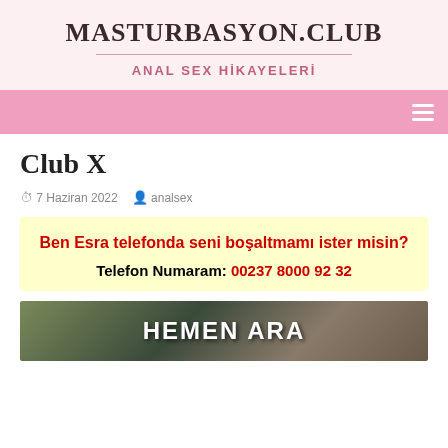MASTURBASYON.CLUB
ANAL SEX HİKAYELERİ
Club X
7 Haziran 2022   analsex
Ben Esra telefonda seni boşaltmamı ister misin?
Telefon Numaram: 00237 8000 92 32
[Figure (photo): Banner image with text HEMEN ARA overlaid on a photo]